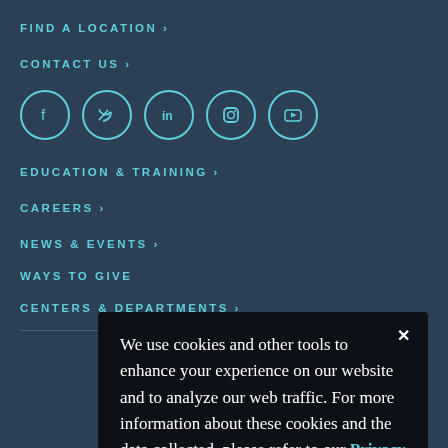FIND A LOCATION ›
CONTACT US ›
[Figure (illustration): Row of 5 social media icons in circles: Facebook, Twitter, LinkedIn, Instagram, YouTube]
EDUCATION & TRAINING ›
CAREERS ›
NEWS & EVENTS ›
WAYS TO GIVE
CENTERS & DEPARTMENTS ›
We use cookies and other tools to enhance your experience on our website and to analyze our web traffic. For more information about these cookies and the data collected, please refer to our Privacy Policy.